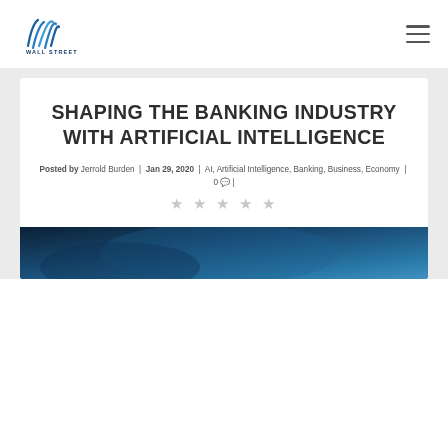Wall Street Media Co
SHAPING THE BANKING INDUSTRY WITH ARTIFICIAL INTELLIGENCE
Posted by Jerrold Burden | Jan 29, 2020 | AI, Artificial Intelligence, Banking, Business, Economy | 0 |
[Figure (illustration): Five star rating icons (empty/outline stars) indicating a rating widget]
[Figure (photo): Dark blue-toned photo at the bottom of the card, appears to show a person in a professional/business setting]